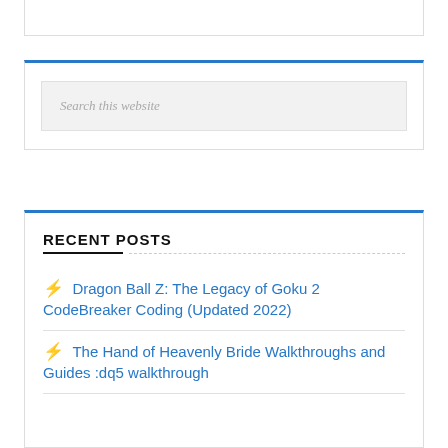Search this website
RECENT POSTS
Dragon Ball Z: The Legacy of Goku 2 CodeBreaker Coding (Updated 2022)
The Hand of Heavenly Bride Walkthroughs and Guides :dq5 walkthrough